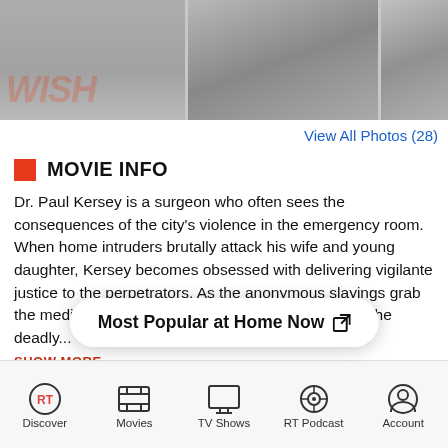[Figure (photo): Three movie/show photo thumbnails in a horizontal strip; leftmost shows an orange-red italic text 'WISH' overlaid on a dark image]
View All Photos (28)
MOVIE INFO
Dr. Paul Kersey is a surgeon who often sees the consequences of the city's violence in the emergency room. When home intruders brutally attack his wife and young daughter, Kersey becomes obsessed with delivering vigilante justice to the perpetrators. As the anonymous slayings grab the media's attention, the public begins to wonder if the deadly...
SHOW MORE
Most Popular at Home Now ↗
Rating:R (Strong Bloody Violence Language Throughout)
Discover  Movies  TV Shows  RT Podcast  Account